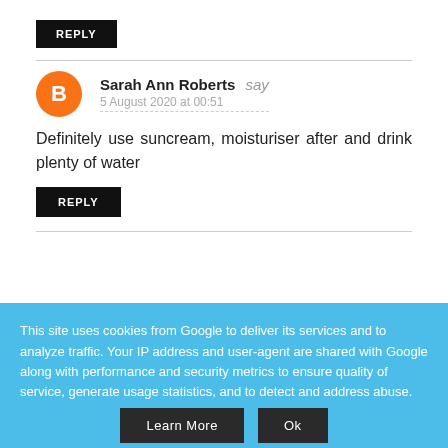REPLY
Sarah Ann Roberts say
5 August 2020 at 00:51
Definitely use suncream, moisturiser after and drink plenty of water
REPLY
This site uses cookies from Google to deliver its services and to analyze traffic. Your IP address and user-agent are shared with Google along with performance and security metrics to ensure quality of service, generate usage statistics, and to detect and address abuse.
Learn More
Ok